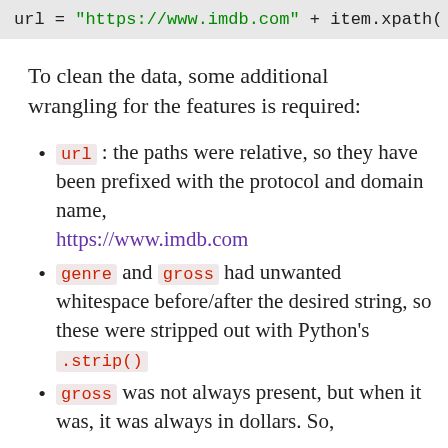[Figure (screenshot): Code snippet showing: url = "https://www.imdb.com" + item.xpath(]
To clean the data, some additional wrangling for the features is required:
url : the paths were relative, so they have been prefixed with the protocol and domain name, https://www.imdb.com
genre and gross had unwanted whitespace before/after the desired string, so these were stripped out with Python's .strip()
gross was not always present, but when it was, it was always in dollars. So,